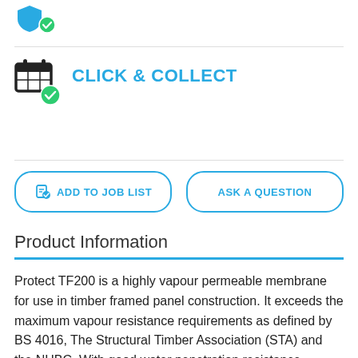[Figure (logo): Teal shield icon with green checkmark badge]
[Figure (logo): Calendar/click-and-collect icon with green checkmark badge next to CLICK & COLLECT label]
CLICK & COLLECT
ADD TO JOB LIST
ASK A QUESTION
Product Information
Protect TF200 is a highly vapour permeable membrane for use in timber framed panel construction. It exceeds the maximum vapour resistance requirements as defined by BS 4016, The Structural Timber Association (STA) and the NHBC. With good water penetration resistance, TF200 protects the structure from moisture ingress whilst still